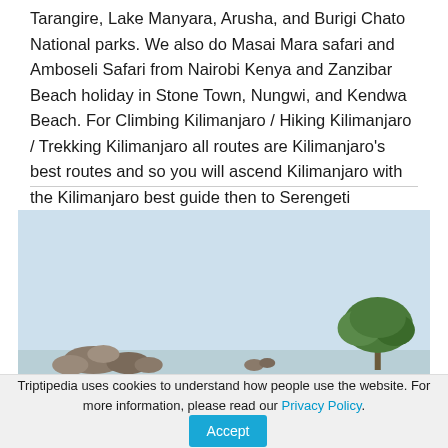Tarangire, Lake Manyara, Arusha, and Burigi Chato National parks. We also do Masai Mara safari and Amboseli Safari from Nairobi Kenya and Zanzibar Beach holiday in Stone Town, Nungwi, and Kendwa Beach. For Climbing Kilimanjaro / Hiking Kilimanjaro / Trekking Kilimanjaro all routes are Kilimanjaro's best routes and so you will ascend Kilimanjaro with the Kilimanjaro best guide then to Serengeti migration Safari in associ... Read more
[Figure (photo): Outdoor safari landscape photo with light blue sky background, rocky formations and animals at bottom-left, and a tree/bush at bottom-right. Partial photo showing a savanna scene.]
Triptipedia uses cookies to understand how people use the website. For more information, please read our Privacy Policy. Accept